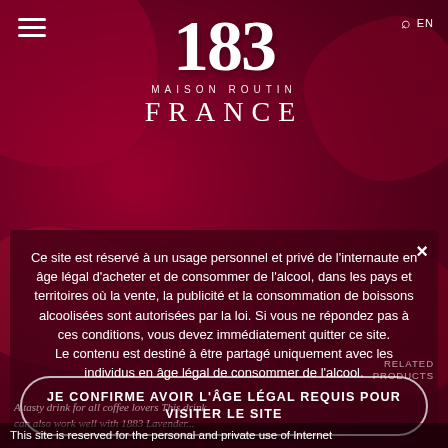[Figure (illustration): Deep red/crimson floral background with rose-like forms and dark overlay, suggesting a luxury alcohol brand website]
1883 MAISON ROUTIN FRANCE
Ce site est réservé à un usage personnel et privé de l'internaute en âge légal d'acheter et de consommer de l'alcool, dans les pays et territoires où la vente, la publicité et la consommation de boissons alcoolisées sont autorisées par la loi. Si vous ne répondez pas à ces conditions, vous devez immédiatement quitter ce site. Le contenu est destiné à être partagé uniquement avec les individus en âge légal de consommer de l'alcool.
JE CONFIRME AVOIR L'ÂGE LÉGAL REQUIS POUR VISITER LE SITE
A tasty drink for all coffee lovers This drink can also work well with 1883 Lavender...
This site is reserved for the personal and private use of Internet